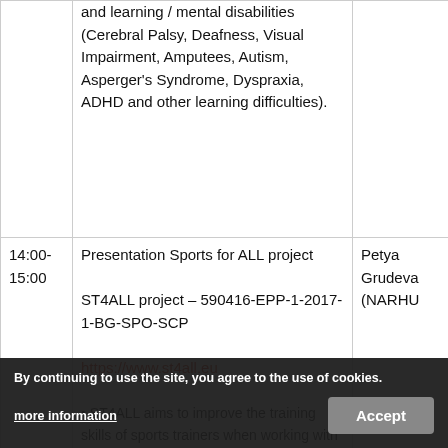| Time | Description | Who |
| --- | --- | --- |
|  | and learning / mental disabilities (Cerebral Palsy, Deafness, Visual Impairment, Amputees, Autism, Asperger's Syndrome, Dyspraxia, ADHD and other learning difficulties). |  |
| 14:00-15:00 | Presentation Sports for ALL project

ST4ALL project – 590416-EPP-1-2017-1-BG-SPO-SCP

https://www.st4all.eu

• ST4ALL aims to improve the training skills of sports trainers when working with | Petya Grudeva (NARHU |